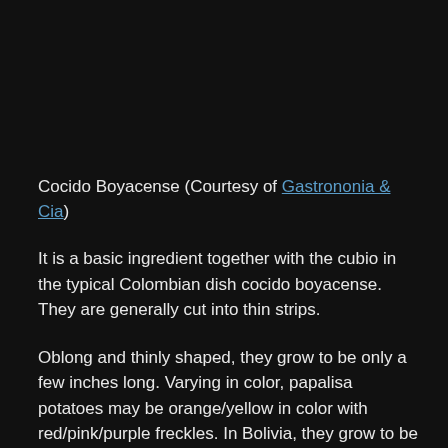Cocido Boyacense (Courtesy of Gastrononia & Cia)
It is a basic ingredient together with the cubio in the typical Colombian dish cocido boyacense. They are generally cut into thin strips.
Oblong and thinly shaped, they grow to be only a few inches long. Varying in color, papalisa potatoes may be orange/yellow in color with red/pink/purple freckles. In Bolivia, they grow to be very colorful and decorative, though with their sweet and unique flavor they are rarely used for decoration.
RECOMMENDED RELATED SITES